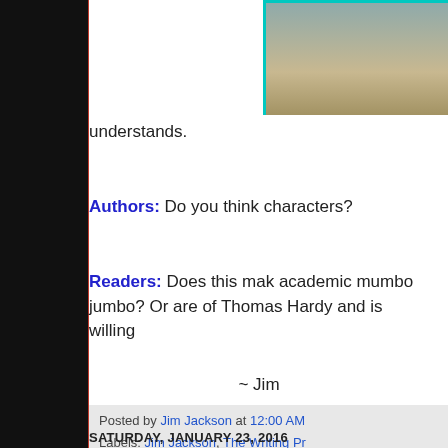[Figure (photo): Partial view of a bird or animal on a branch, cropped, with teal/cyan border frame]
understands.
Authors: Do you think characters?
Readers: Does this make academic mumbo jumbo? Or are of Thomas Hardy and is willing
~ Jim
Posted by Jim Jackson at 12:00 AM
Labels: Jim Jackson, The Writing Pr...